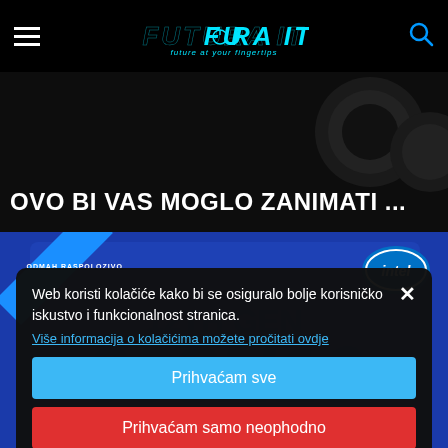FUTURA IT - future at your fingertips
OVO BI VAS MOGLO ZANIMATI ...
[Figure (screenshot): Intel product box with blue background and 'ODMAH RASPOLOZIVO' diagonal badge]
Web koristi kolačiće kako bi se osiguralo bolje korisničko iskustvo i funkcionalnost stranica.
Više informacija o kolačićima možete pročitati ovdje
Prihvaćam sve
Prihvaćam samo neophodno